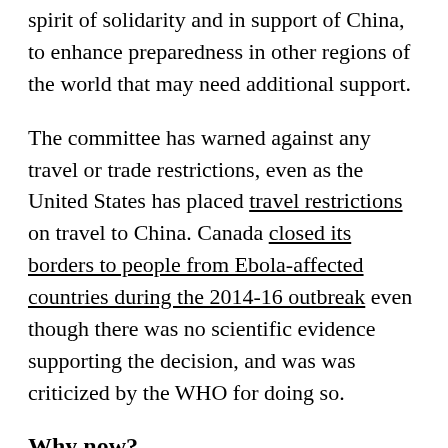spirit of solidarity and in support of China, to enhance preparedness in other regions of the world that may need additional support.
The committee has warned against any travel or trade restrictions, even as the United States has placed travel restrictions on travel to China. Canada closed its borders to people from Ebola-affected countries during the 2014-16 outbreak even though there was no scientific evidence supporting the decision, and was was criticized by the WHO for doing so.
Why now?
The declaration of a global public health emergency can have serious repercussions. If it is called too early, it can interfere with international traffic and trade. But if it is called too late, the WHO